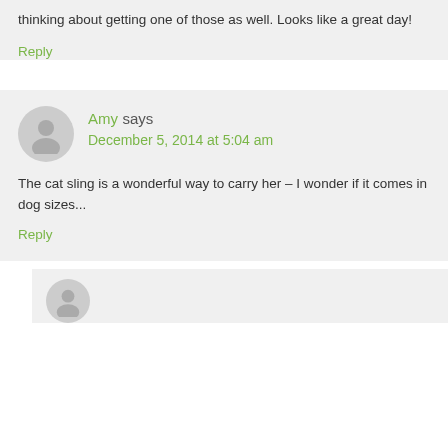She's really cute! I love this pocket. I'm thinking about getting one of those as well. Looks like a great day!
Reply
Amy says December 5, 2014 at 5:04 am
The cat sling is a wonderful way to carry her – I wonder if it comes in dog sizes...
Reply